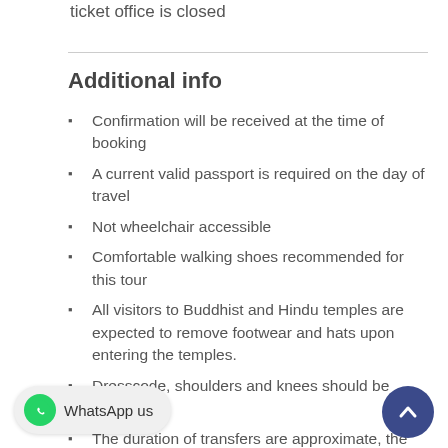ticket office is closed
Additional info
Confirmation will be received at the time of booking
A current valid passport is required on the day of travel
Not wheelchair accessible
Comfortable walking shoes recommended for this tour
All visitors to Buddhist and Hindu temples are expected to remove footwear and hats upon entering the temples.
Dresscode, shoulders and knees should be covered
The duration of transfers are approximate, the exact duration will depend on the time of day and traffic conditions